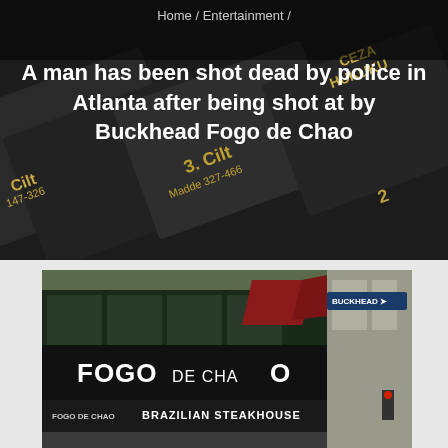Home / Entertainment /
A man has been shot dead by police in Atlanta after being shot at by Buckhead Fogo de Chao
[Figure (photo): Dark background image showing black book covers with gold text including 'CEZA HUKUKU', 'Cilt 147-326', '3. Cilt Madde 327-466', and the number 2]
[Figure (photo): Exterior photo of Fogo de Chao Brazilian Steakhouse restaurant storefront with large signage reading 'FOGO DE CHAO' and 'FOGO DE CHAO BRAZILIAN STEAKHOUSE']